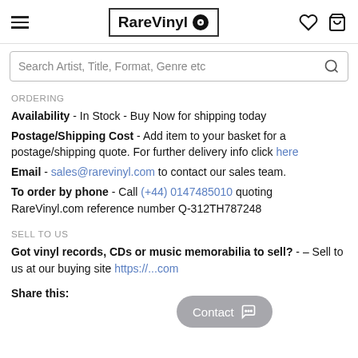RareVinyl
Search Artist, Title, Format, Genre etc
ORDERING
Availability - In Stock - Buy Now for shipping today
Postage/Shipping Cost - Add item to your basket for a postage/shipping quote. For further delivery info click here
Email - sales@rarevinyl.com to contact our sales team.
To order by phone - Call (+44) 0147485010 quoting RareVinyl.com reference number Q-312TH787248
SELL TO US
Got vinyl records, CDs or music memorabilia to sell? - – Sell to us at our buying site https://...com
Share this: